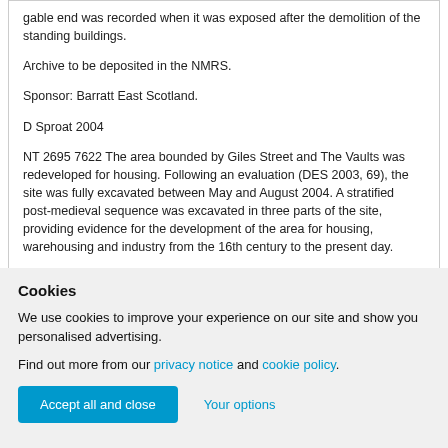gable end was recorded when it was exposed after the demolition of the standing buildings.
Archive to be deposited in the NMRS.
Sponsor: Barratt East Scotland.
D Sproat 2004
NT 2695 7622 The area bounded by Giles Street and The Vaults was redeveloped for housing. Following an evaluation (DES 2003, 69), the site was fully excavated between May and August 2004. A stratified post-medieval sequence was excavated in three parts of the site, providing evidence for the development of the area for housing, warehousing and industry from the 16th century to the present day.
93-96 Giles Street. Archaeological deposits were preserved beneath the floor of a 19th-century warehouse. Among the
Cookies
We use cookies to improve your experience on our site and show you personalised advertising.
Find out more from our privacy notice and cookie policy.
Accept all and close
Your options